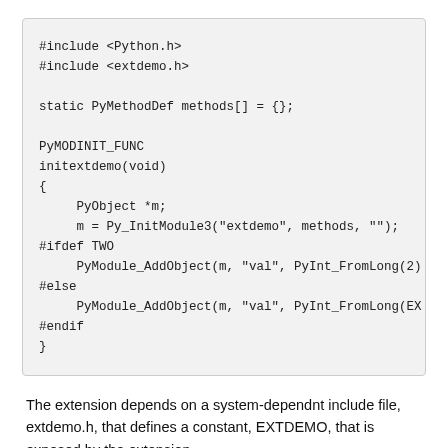#include <Python.h>
#include <extdemo.h>

static PyMethodDef methods[] = {};

PyMODINIT_FUNC
initextdemo(void)
{
    PyObject *m;
    m = Py_InitModule3("extdemo", methods, "");
#ifdef TWO
    PyModule_AddObject(m, "val", PyInt_FromLong(2)
#else
    PyModule_AddObject(m, "val", PyInt_FromLong(EX
#endif
}
The extension depends on a system-dependnt include file, extdemo.h, that defines a constant, EXTDEMO, that is exposed by the extension.